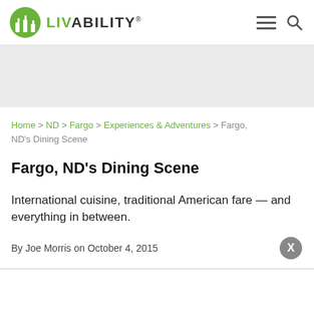LIVABILITY
[Figure (other): Gray advertising banner placeholder]
Home > ND > Fargo > Experiences & Adventures > Fargo, ND's Dining Scene
Fargo, ND's Dining Scene
International cuisine, traditional American fare — and everything in between.
By Joe Morris on October 4, 2015